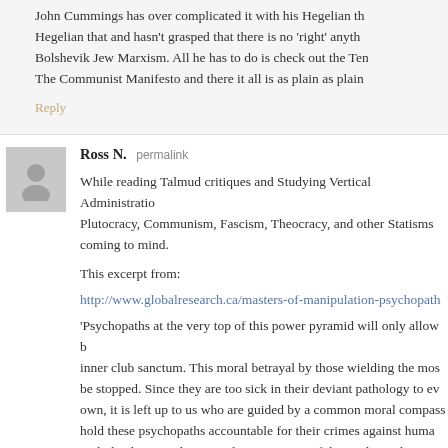John Cummings has over complicated it with his Hegelian th... Hegelian that and hasn't grasped that there is no 'right' anyth... Bolshevik Jew Marxism. All he has to do is check out the Ten... The Communist Manifesto and there it all is as plain as plain...
Reply
Ross N. permalink
While reading Talmud critiques and Studying Vertical Administratio... Plutocracy, Communism, Fascism, Theocracy, and other Statisms... coming to mind.
This excerpt from:
http://www.globalresearch.ca/masters-of-manipulation-psychopath...
'Psychopaths at the very top of this power pyramid will only allow b... inner club sanctum. This moral betrayal by those wielding the mos... be stopped. Since they are too sick in their deviant pathology to ev... own, it is left up to us who are guided by a common moral compass... hold these psychopaths accountable for their crimes against huma... with the distinct advantage that as just 1% of the total population...